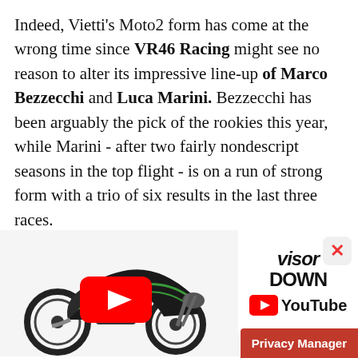Indeed, Vietti's Moto2 form has come at the wrong time since VR46 Racing might see no reason to alter its impressive line-up of Marco Bezzecchi and Luca Marini. Bezzecchi has been arguably the pick of the rookies this year, while Marini - after two fairly nondescript seasons in the top flight - is on a run of strong form with a trio of six results in the last three races.

They were the runaway champions in
[Figure (screenshot): Advertisement banner showing a Kawasaki motorcycle with YouTube play button overlay, Visordown YouTube channel branding, and a Privacy Manager button.]